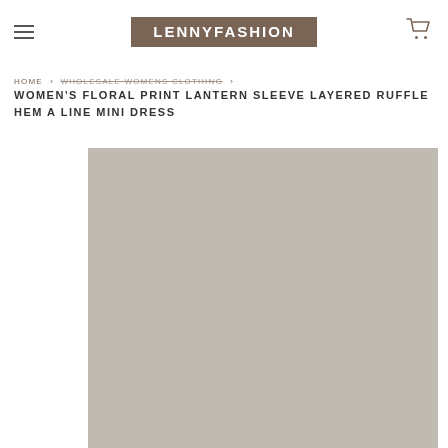LENNYFASHION
HOME > WHOLESALE WOMENS CLOTHING >
WOMEN'S FLORAL PRINT LANTERN SLEEVE LAYERED RUFFLE HEM A LINE MINI DRESS
[Figure (photo): Product image placeholder — large grey rectangle representing a women's floral print lantern sleeve layered ruffle hem A line mini dress]